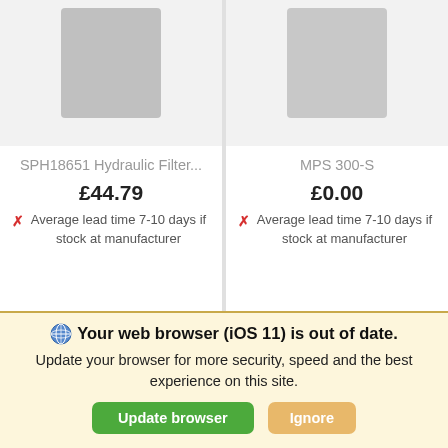[Figure (photo): Product image placeholder for SPH18651 Hydraulic Filter (gray rectangle at top)]
SPH18651 Hydraulic Filter...
£44.79
✗ Average lead time 7-10 days if stock at manufacturer
[Figure (photo): Product image placeholder for MPS 300-S (gray rectangle at top right)]
MPS 300-S
£0.00
✗ Average lead time 7-10 days if stock at manufacturer
[Figure (photo): Bottom left product card with small gray placeholder image]
[Figure (photo): Bottom right product card showing a circular hydraulic filter top view]
Your web browser (iOS 11) is out of date. Update your browser for more security, speed and the best experience on this site.
Update browser
Ignore